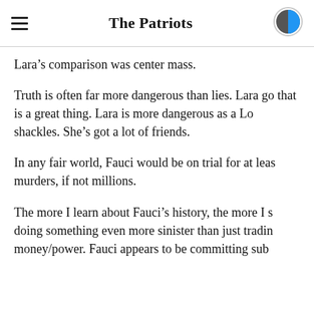The Patriots
Lara's comparison was center mass.
Truth is often far more dangerous than lies. Lara go that is a great thing. Lara is more dangerous as a Lo shackles. She's got a lot of friends.
In any fair world, Fauci would be on trial for at leas murders, if not millions.
The more I learn about Fauci's history, the more I s doing something even more sinister than just tradin money/power. Fauci appears to be committing sub